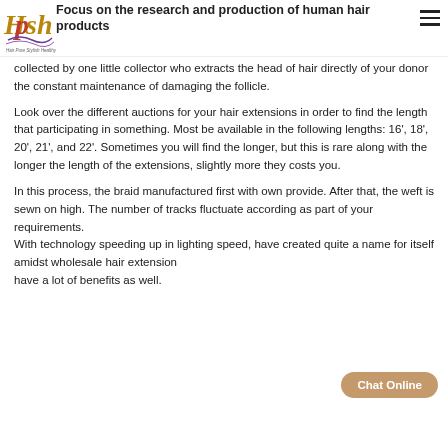Focus on the research and production of human hair products
[Figure (logo): Hpsh hair brand logo with cursive text and wavy lines, tagline: Hair Pure Stylish Healthy]
collected by one little collector who extracts the head of hair directly of your donor the constant maintenance of damaging the follicle.
Look over the different auctions for your hair extensions in order to find the length that participating in something. Most be available in the following lengths: 16', 18', 20', 21', and 22'. Sometimes you will find the longer, but this is rare along with the longer the length of the extensions, slightly more they costs you.
In this process, the braid manufactured first with own provide. After that, the weft is sewn on high. The number of tracks fluctuate according as part of your requirements.
With technology speeding up in lighting speed, have created quite a name for itself amidst wholesale hair extensions have a lot of benefits as well.